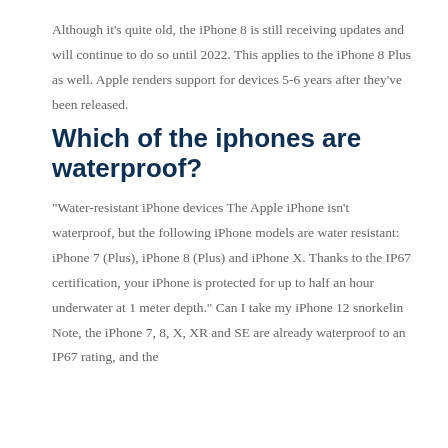Although it’s quite old, the iPhone 8 is still receiving updates and will continue to do so until 2022. This applies to the iPhone 8 Plus as well. Apple renders support for devices 5-6 years after they’ve been released.
Which of the iphones are waterproof?
“Water-resistant iPhone devices The Apple iPhone isn’t waterproof, but the following iPhone models are water resistant: iPhone 7 (Plus), iPhone 8 (Plus) and iPhone X. Thanks to the IP67 certification, your iPhone is protected for up to half an hour underwater at 1 meter depth.” Can I take my iPhone 12 snorkelin Note, the iPhone 7, 8, X, XR and SE are already waterproof to an IP67 rating, and the